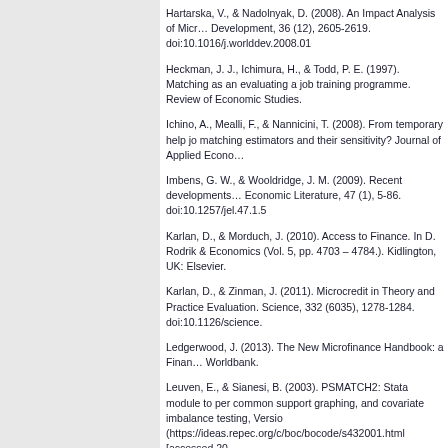Hartarska, V., & Nadolnyak, D. (2008). An Impact Analysis of Micr… Development, 36 (12), 2605-2619. doi:10.1016/j.worlddev.2008.01
Heckman, J. J., Ichimura, H., & Todd, P. E. (1997). Matching as an evaluating a job training programme. Review of Economic Studies.
Ichino, A., Mealli, F., & Nannicini, T. (2008). From temporary help jo matching estimators and their sensitivity? Journal of Applied Econo…
Imbens, G. W., & Wooldridge, J. M. (2009). Recent developments… Economic Literature, 47 (1), 5-86. doi:10.1257/jel.47.1.5
Karlan, D., & Morduch, J. (2010). Access to Finance. In D. Rodrik … Economics (Vol. 5, pp. 4703 – 4784.). Kidlington, UK: Elsevier.
Karlan, D., & Zinman, J. (2011). Microcredit in Theory and Practice Evaluation. Science, 332 (6035), 1278-1284. doi:10.1126/science.
Ledgerwood, J. (2013). The New Microfinance Handbook: a Finan… Worldbank.
Leuven, E., & Sianesi, B. (2003). PSMATCH2: Stata module to per common support graphing, and covariate imbalance testing, Versio (https://ideas.repec.org/c/boc/bocode/s432001.html [accessed 20 .
Madestam, A. (2014). Informal finance: A theory of moneylenders. doi:10.1016/j.jdeveco.2013.11.001